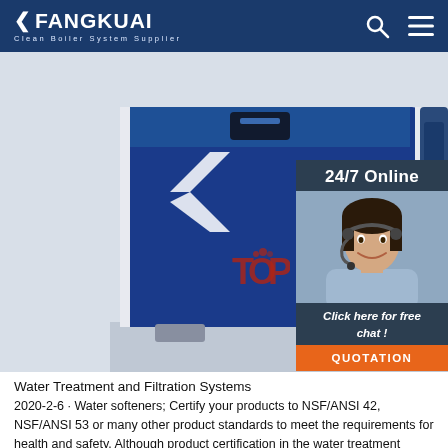FANGKUAI — Clean Boiler System Supplier
[Figure (photo): Blue industrial boiler/water treatment unit with white panels and structural frame, photograph against light background]
[Figure (photo): 24/7 Online chat widget showing a smiling woman with headset, a 'Click here for free chat!' message, and an orange QUOTATION button]
Water Treatment and Filtration Systems
2020-2-6 · Water softeners; Certify your products to NSF/ANSI 42, NSF/ANSI 53 or many other product standards to meet the requirements for health and safety. Although product certification in the water treatment industry is often voluntary, manufacturers receive many benefits from working with NSF experts, including